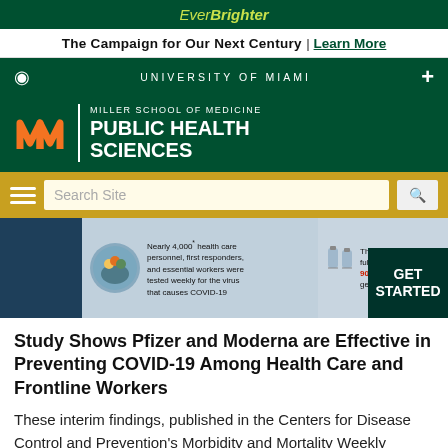EverBrighter
The Campaign for Our Next Century | Learn More
UNIVERSITY OF MIAMI
[Figure (logo): University of Miami Miller School of Medicine Public Health Sciences logo with orange U logo mark]
[Figure (screenshot): Banner showing nearly 4,000 health care personnel, first responders, and essential workers were tested weekly for the virus that causes COVID-19. Those who were fully vaccinated were 90% less likely to get infected. GET STARTED button.]
Study Shows Pfizer and Moderna are Effective in Preventing COVID-19 Among Health Care and Frontline Workers
These interim findings, published in the Centers for Disease Control and Prevention's Morbidity and Mortality Weekly Report Series, reinforce the success